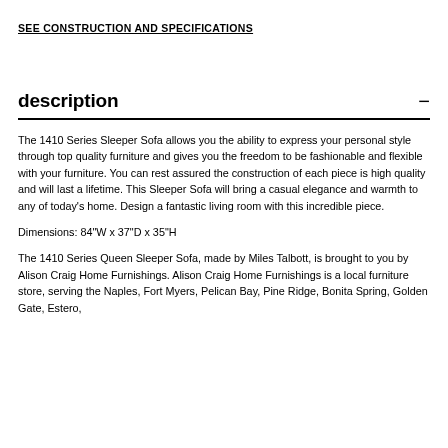SEE CONSTRUCTION AND SPECIFICATIONS
description
The 1410 Series Sleeper Sofa allows you the ability to express your personal style through top quality furniture and gives you the freedom to be fashionable and flexible with your furniture. You can rest assured the construction of each piece is high quality and will last a lifetime. This Sleeper Sofa will bring a casual elegance and warmth to any of today's home. Design a fantastic living room with this incredible piece.
Dimensions: 84"W x 37"D x 35"H
The 1410 Series Queen Sleeper Sofa, made by Miles Talbott, is brought to you by Alison Craig Home Furnishings. Alison Craig Home Furnishings is a local furniture store, serving the Naples, Fort Myers, Pelican Bay, Pine Ridge, Bonita Spring, Golden Gate, Estero,